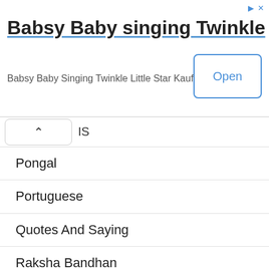[Figure (screenshot): Advertisement banner for 'Babsy Baby singing Twinkle' app by Kaufcom GmbH with an Open button]
IS
Pongal
Portuguese
Quotes And Saying
Raksha Bandhan
Ramadan Eid
Republic Day
Retirement
Romantic Messages
shivaratri
SMS